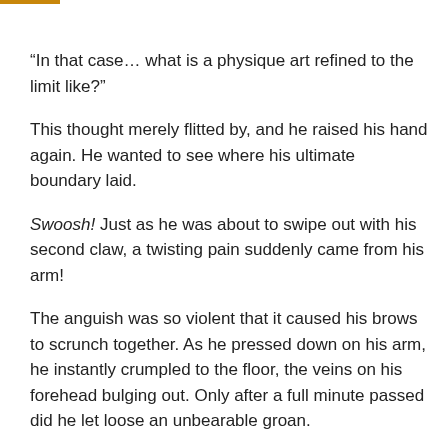“In that case… what is a physique art refined to the limit like?”
This thought merely flitted by, and he raised his hand again. He wanted to see where his ultimate boundary laid.
Swoosh! Just as he was about to swipe out with his second claw, a twisting pain suddenly came from his arm!
The anguish was so violent that it caused his brows to scrunch together. As he pressed down on his arm, he instantly crumpled to the floor, the veins on his forehead bulging out. Only after a full minute passed did he let loose an unbearable groan.
He couldn’t take the pain!